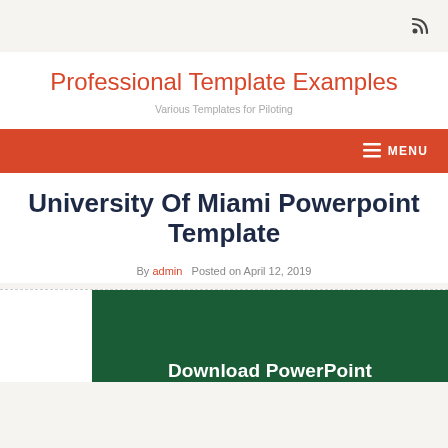RSS icon / navigation top bar
Professional Template Examples
Various Templates for Piloting
MENU
University Of Miami Powerpoint Template
By admin   Posted on April 12, 2019
[Figure (screenshot): Partial screenshot of a dark green University of Miami PowerPoint template slide showing the text 'Download PowerPoint' partially visible at the bottom]